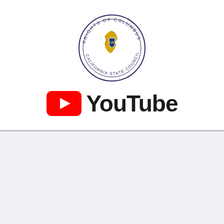[Figure (logo): Knights of Columbus California State Council circular logo with shield emblem in center]
[Figure (logo): YouTube logo — red rounded rectangle play button icon followed by bold YouTube text]
COVID-19 Precautions
[Figure (infographic): COVID-19 precautions card with Knights of Columbus California logo on left. Right side text: Fight Coronavirus — We as Knights of Columbus, we need to help other Knights who don't have family to call WE ARE FAMILY. Bottom left: Avoid close contact in GROUPS. Bottom right: Dial soap bottle with text Keep one in your home and]
Avoid close contact in GROUPS
Keep one in your home and